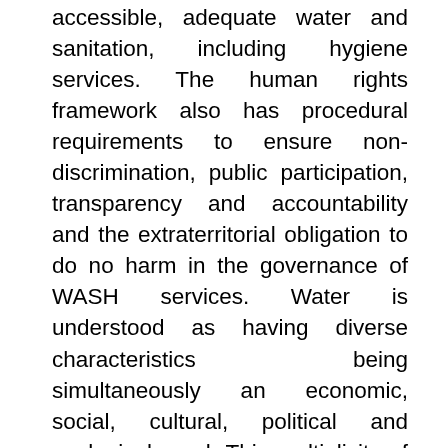accessible, adequate water and sanitation, including hygiene services. The human rights framework also has procedural requirements to ensure non-discrimination, public participation, transparency and accountability and the extraterritorial obligation to do no harm in the governance of WASH services. Water is understood as having diverse characteristics being simultaneously an economic, social, cultural, political and ecological good. This multiplicity of framings complicates the localization and mainstreaming of the HRWS in relevant institutions at various levels of governance, from the international to the local. Within the broader context of international law, there are tensions and synergies between the HRWS and the regulation of transboundary water resources for navigational and non-navigational uses, regulation of foreign trade